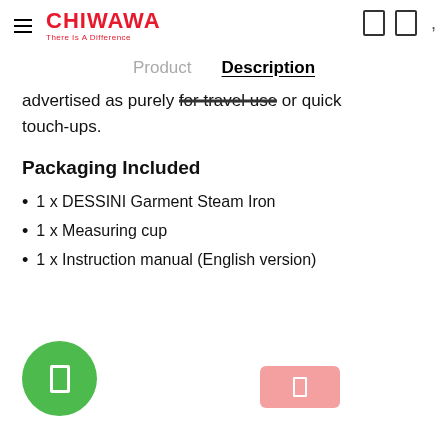CHIWAWA — There Is A Difference
Product   Description
advertised as purely for travel use or quick touch-ups.
Packaging Included
1 x DESSINI Garment Steam Iron
1 x Measuring cup
1 x Instruction manual (English version)